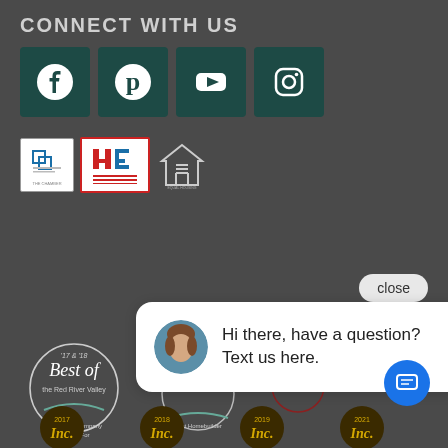CONNECT WITH US
[Figure (infographic): Four social media icon buttons: Facebook, Pinterest, YouTube, Instagram on dark teal background squares]
[Figure (logo): Three logos: The Chamber, Home Builders Association (red/blue), Equal Housing Opportunity]
[Figure (infographic): Chat popup widget with close button, avatar photo of woman, text: Hi there, have a question? Text us here. And a blue chat FAB button.]
[Figure (illustration): Best of the Red River Valley '17 & '18 award logo - Best Small Company to Work For]
[Figure (illustration): Best Homebuilder award badge]
[Figure (illustration): Awards Winner badge with red ribbon]
[Figure (illustration): Fourth award badge partially visible]
[Figure (illustration): Four Inc. magazine award badges: 2017, 2018, 2019, 2021]